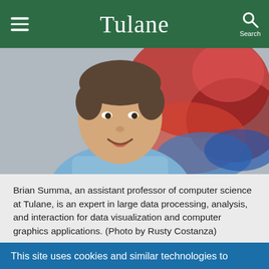Tulane
[Figure (photo): Headshot of Brian Summa, an assistant professor of computer science at Tulane, smiling in front of a colorful data visualization display. Photo by Rusty Costanza.]
Brian Summa, an assistant professor of computer science at Tulane, is an expert in large data processing, analysis, and interaction for data visualization and computer graphics applications. (Photo by Rusty Costanza)
This site uses cookies and similar technologies to